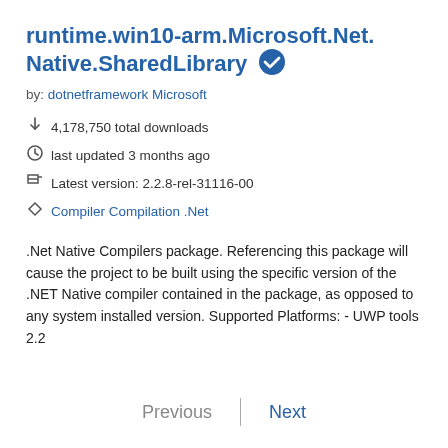runtime.win10-arm.Microsoft.Net.Native.SharedLibrary ✔
by: dotnetframework Microsoft
4,178,750 total downloads
last updated 3 months ago
Latest version: 2.2.8-rel-31116-00
Compiler Compilation .Net
.Net Native Compilers package. Referencing this package will cause the project to be built using the specific version of the .NET Native compiler contained in the package, as opposed to any system installed version. Supported Platforms: - UWP tools 2.2
Previous  |  Next